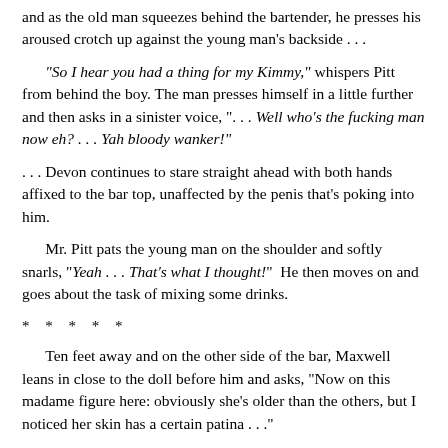and as the old man squeezes behind the bartender, he presses his aroused crotch up against the young man's backside . . .
“So I hear you had a thing for my Kimmy,” whispers Pitt from behind the boy. The man presses himself in a little further and then asks in a sinister voice, “. . . Well who’s the fucking man now eh? . . . Yah bloody wanker!”
. . . Devon continues to stare straight ahead with both hands affixed to the bar top, unaffected by the penis that’s poking into him.
Mr. Pitt pats the young man on the shoulder and softly snarls, “Yeah . . . That’s what I thought!”  He then moves on and goes about the task of mixing some drinks.
* * * * *
Ten feet away and on the other side of the bar, Maxwell leans in close to the doll before him and asks, “Now on this madame figure here: obviously she’s older than the others, but I noticed her skin has a certain patina . . .”
“Yes, well Marion here was an interesting subject to deal with,” reveals the professor, before going on to explain, “I airbrushed her entire body with skin-toned paint, to hide any blemishes that come with age. Those would include freckles, moles, or sunspots,